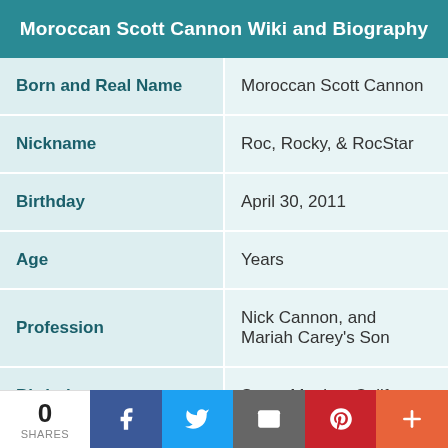| Moroccan Scott Cannon Wiki and Biography |
| --- |
| Born and Real Name | Moroccan Scott Cannon |
| Nickname | Roc, Rocky, & RocStar |
| Birthday | April 30, 2011 |
| Age | Years |
| Profession | Nick Cannon, and Mariah Carey's Son |
| Birthplace | Santa Monica, California... |